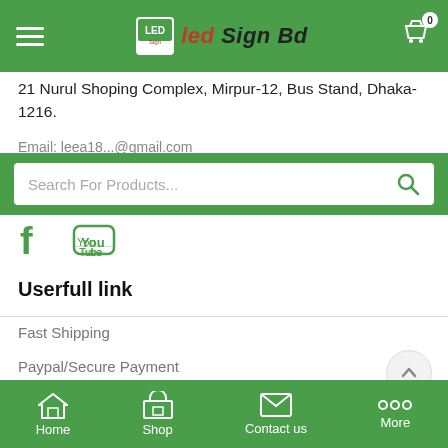Led Sign Bd - navigation header with hamburger menu, logo, and cart icon
21 Nurul Shoping Complex, Mirpur-12, Bus Stand, Dhaka-1216.
Email: leea10...@gmail.com (partially visible)
Search For Products...
[Figure (screenshot): Facebook and YouTube social media icons in green]
Userfull link
Fast Shipping
Paypal/Secure Payment
30 Days Return Policy
Home | Shop | Contact us | More